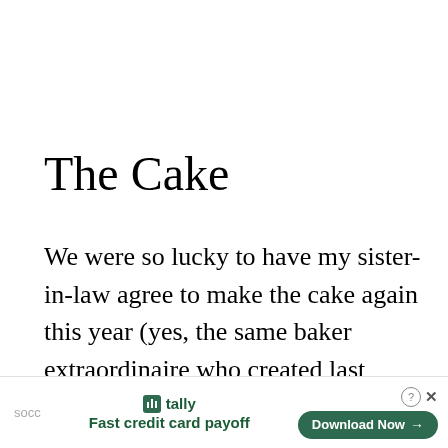The Cake
We were so lucky to have my sister-in-law agree to make the cake again this year (yes, the same baker extraordinaire who created last year's Very Hungry Caterpillar cake and cupcake scene). This year she envisioned a ball-themed layer cake for Luke to dig into—topped with a Rice Krispies Treat
[Figure (other): Advertisement bar for Tally app — 'Fast credit card payoff' with a Download Now button]